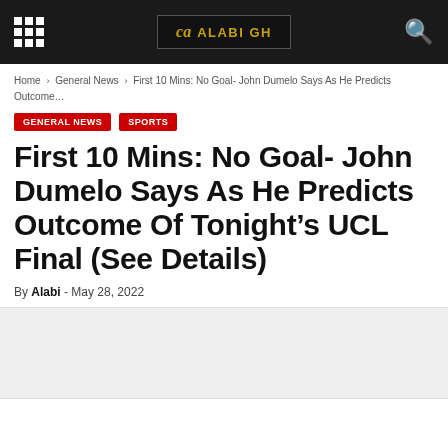ALABI GH — navigation header with grid menu, logo, and search icon
Home › General News › First 10 Mins: No Goal- John Dumelo Says As He Predicts Outcome…
GENERAL NEWS
SPORTS
First 10 Mins: No Goal- John Dumelo Says As He Predicts Outcome Of Tonight's UCL Final (See Details)
By Alabi - May 28, 2022